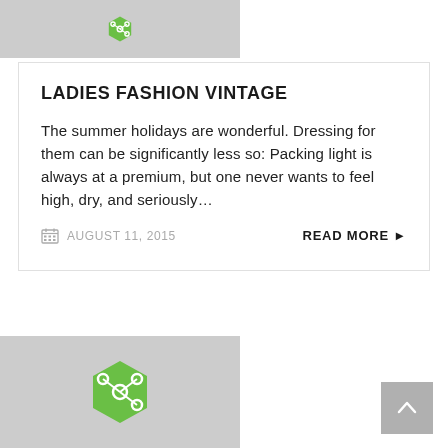[Figure (illustration): Gray placeholder image with a green hexagonal share/network icon at top]
LADIES FASHION VINTAGE
The summer holidays are wonderful. Dressing for them can be significantly less so: Packing light is always at a premium, but one never wants to feel high, dry, and seriously…
AUGUST 11, 2015
READ MORE ▶
[Figure (illustration): Gray placeholder image with a green hexagonal share/network icon at bottom]
[Figure (illustration): Gray scroll-to-top button with upward chevron arrow]